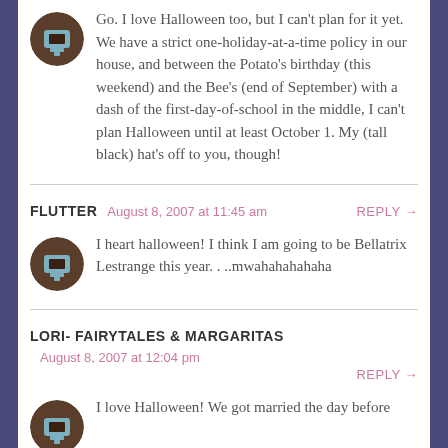Go. I love Halloween too, but I can't plan for it yet. We have a strict one-holiday-at-a-time policy in our house, and between the Potato's birthday (this weekend) and the Bee's (end of September) with a dash of the first-day-of-school in the middle, I can't plan Halloween until at least October 1. My (tall black) hat's off to you, though!
FLUTTER — August 8, 2007 at 11:45 am — REPLY →
I heart halloween! I think I am going to be Bellatrix Lestrange this year. . ..mwahahahahaha
LORI- FAIRYTALES & MARGARITAS — August 8, 2007 at 12:04 pm — REPLY →
I love Halloween! We got married the day before